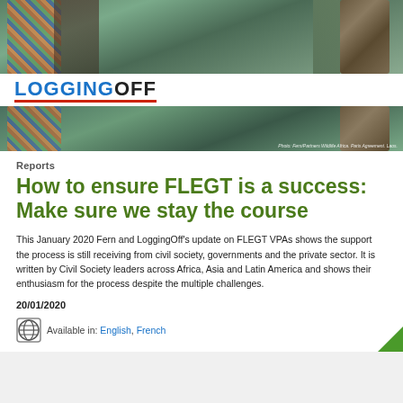[Figure (photo): Banner image showing a person in colorful patterned clothing touching a tree trunk in a forest setting, with the LoggingOff logo in the middle of the banner.]
Reports
How to ensure FLEGT is a success: Make sure we stay the course
This January 2020 Fern and LoggingOff's update on FLEGT VPAs shows the support the process is still receiving from civil society, governments and the private sector. It is written by Civil Society leaders across Africa, Asia and Latin America and shows their enthusiasm for the process despite the multiple challenges.
20/01/2020
Available in: English, French